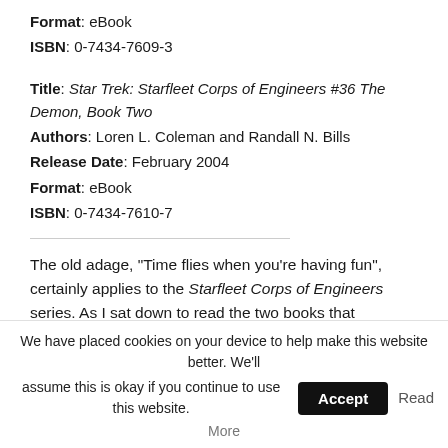Format: eBook
ISBN: 0-7434-7609-3
Title: Star Trek: Starfleet Corps of Engineers #36 The Demon, Book Two
Authors: Loren L. Coleman and Randall N. Bills
Release Date: February 2004
Format: eBook
ISBN: 0-7434-7610-7
The old adage, "Time flies when you're having fun", certainly applies to the Starfleet Corps of Engineers series. As I sat down to read the two books that comprise the newest instalments of this monthly eBook
We have placed cookies on your device to help make this website better. We'll assume this is okay if you continue to use this website. Accept Read More